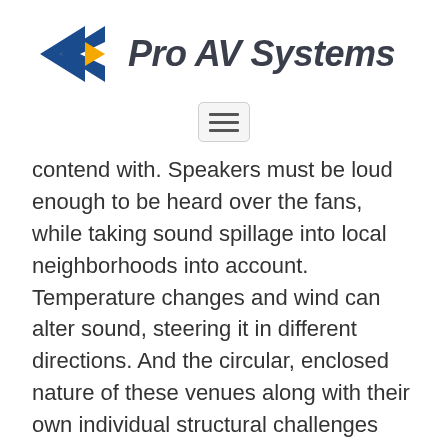[Figure (logo): Pro AV Systems logo with blue arrow/chevron shape and gold triangle accent, followed by bold italic text 'Pro AV Systems' in dark gray]
[Figure (other): Hamburger menu button icon — three horizontal lines inside a rounded rectangle]
contend with. Speakers must be loud enough to be heard over the fans, while taking sound spillage into local neighborhoods into account. Temperature changes and wind can alter sound, steering it in different directions. And the circular, enclosed nature of these venues along with their own individual structural challenges account for another host of issues. Therefore, speaker placement and choice is crucial to hinder pockets that may otherwise end up with sound that is too loud or not loud enough.
Speakers and sound distribution aren't the only things